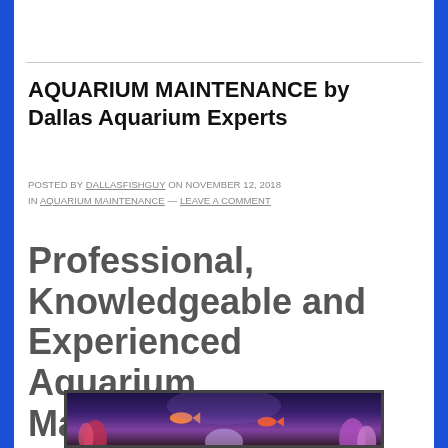AQUARIUM MAINTENANCE by Dallas Aquarium Experts
POSTED BY DALLASFISHGUY ON NOVEMBER 12, 2018 IN AQUARIUM MAINTENANCE — LEAVE A COMMENT
Professional, Knowledgeable and Experienced Aquarium Maintenance
[Figure (photo): An aquarium with colorful coral and fish, shown in a dark framed display]